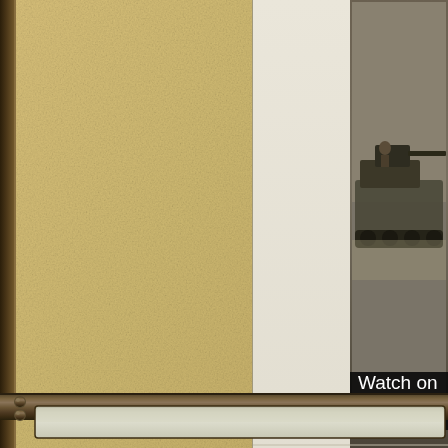[Figure (screenshot): Partial screenshot of a web page with parchment/tan textured background on the left side, a content panel on the right with a military vehicle image (partially visible), a 'Watch on' overlay text in dark bar, a 'Last Updated On Wednesday, June 29' text, and a metallic/dark bottom navigation bar with an input field.]
Watch on
Last Updated On Wednesday, June 29